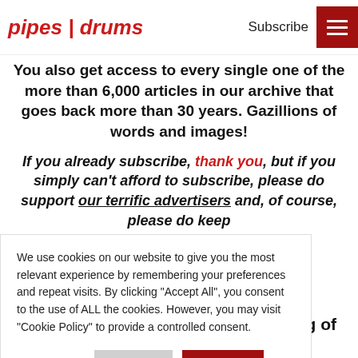pipes | drums   Subscribe
You also get access to every single one of the more than 6,000 articles in our archive that goes back more than 30 years. Gazillions of words and images!
If you already subscribe, thank you, but if you simply can’t afford to subscribe, please do support our terrific advertisers and, of course, please do keep
We use cookies on our website to give you the most relevant experience by remembering your preferences and repeat visits. By clicking “Accept All”, you consent to the use of ALL the cookies. However, you may visit “Cookie Policy” to provide a controlled consent.
Cookie Policy   Reject All   Accept All
The 2020 Set Tunes Series: “Gathering of the